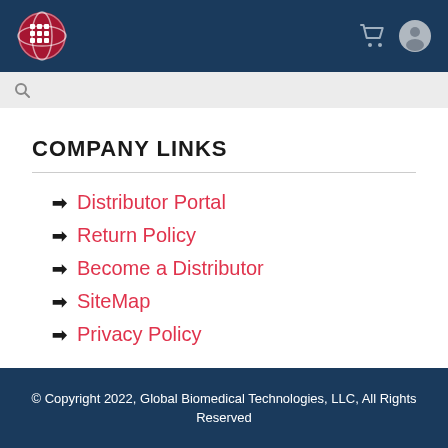Global Biomedical Technologies header navigation with logo, cart, and user icons
COMPANY LINKS
Distributor Portal
Return Policy
Become a Distributor
SiteMap
Privacy Policy
© Copyright 2022, Global Biomedical Technologies, LLC, All Rights Reserved